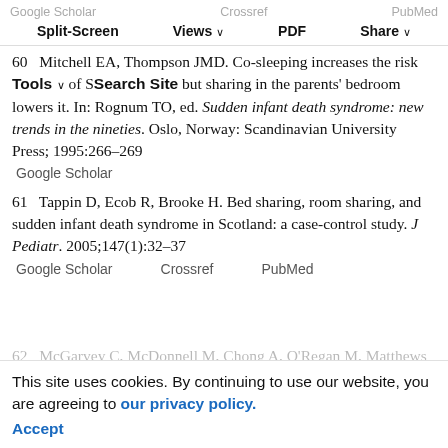Google Scholar  Crossref  PubMed  Split-Screen  Views  PDF  Share  Tools  Search Site
60  Mitchell EA, Thompson JMD. Co-sleeping increases the risk of SIDS, but sharing in the parents' bedroom lowers it. In: Rognum TO, ed. Sudden infant death syndrome: new trends in the nineties. Oslo, Norway: Scandinavian University Press; 1995:266–269
61  Tappin D, Ecob R, Brooke H. Bed sharing, room sharing, and sudden infant death syndrome in Scotland: a case-control study. J Pediatr. 2005;147(1):32–37
62  McGarvey C, McDonnell M, Chong A, O'Regan M, Matthews T. Factors relating to the infants last sleep environment in sudden infant death syndrome in the Republic of Ireland. Arch Dis Child.
This site uses cookies. By continuing to use our website, you are agreeing to our privacy policy. Accept